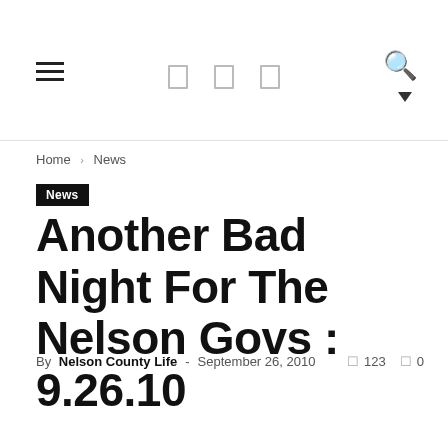Navigation header with hamburger menu, social icons, search icon, and dropdown
Home › News
News
Another Bad Night For The Nelson Govs : 9.26.10
By Nelson County Life – September 26, 2010   123   0